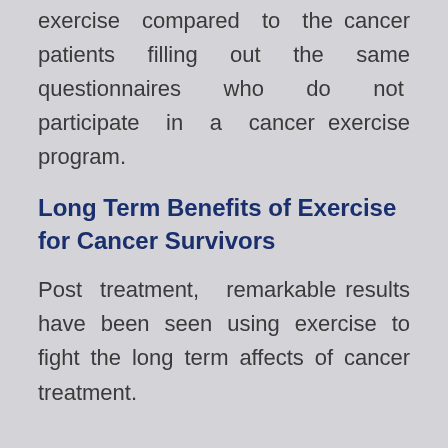exercise compared to the cancer patients filling out the same questionnaires who do not participate in a cancer exercise program.
Long Term Benefits of Exercise for Cancer Survivors
Post treatment, remarkable results have been seen using exercise to fight the long term affects of cancer treatment.